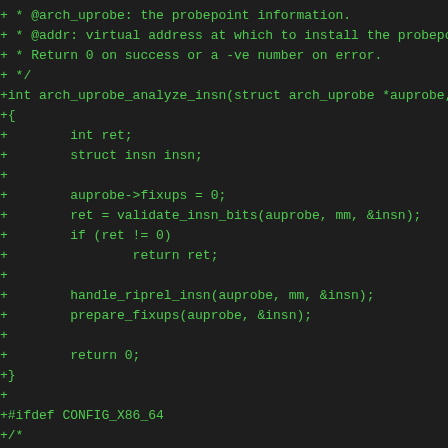Code diff showing arch_uprobe_analyze_insn function and CONFIG_X86_64 ifdef block in green monospace on dark background